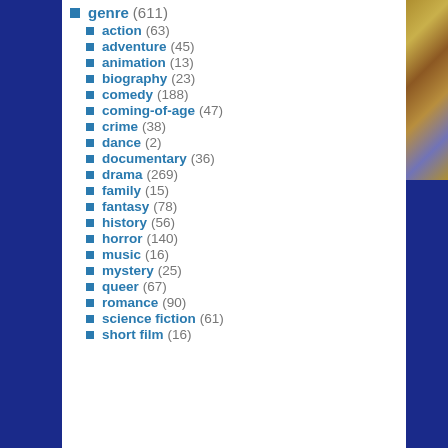genre (611)
action (63)
adventure (45)
animation (13)
biography (23)
comedy (188)
coming-of-age (47)
crime (38)
dance (2)
documentary (36)
drama (269)
family (15)
fantasy (78)
history (56)
horror (140)
music (16)
mystery (25)
queer (67)
romance (90)
science fiction (61)
short film (16)